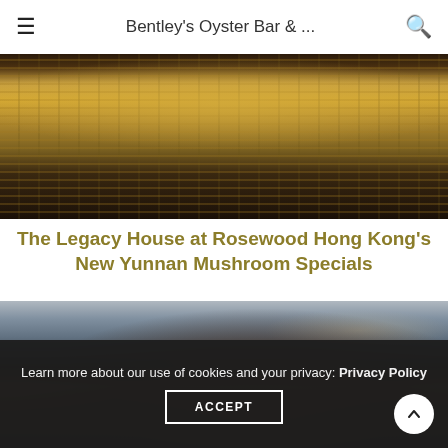Bentley's Oyster Bar & ...
[Figure (photo): Person holding a woven bamboo basket filled with food items, viewed from the waist down against a grey background]
The Legacy House at Rosewood Hong Kong's New Yunnan Mushroom Specials
[Figure (photo): Close-up of a large seared/roasted meat piece being cut or served on a surface]
Learn more about our use of cookies and your privacy: Privacy Policy
ACCEPT